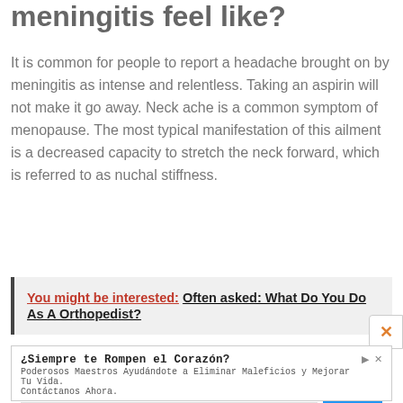meningitis feel like?
It is common for people to report a headache brought on by meningitis as intense and relentless. Taking an aspirin will not make it go away. Neck ache is a common symptom of menopause. The most typical manifestation of this ailment is a decreased capacity to stretch the neck forward, which is referred to as nuchal stiffness.
You might be interested:  Often asked: What Do You Do As A Orthopedist?
[Figure (other): Advertisement banner: ¿Siempre te Rompen el Corazón? Poderosos Maestros Ayudándote a Eliminar Maleficios y Mejorar Tu Vida. Contáctanos Ahora. URL: conjuros-amarres-hechizos-brujeria-de-a... Button: ABRIR]